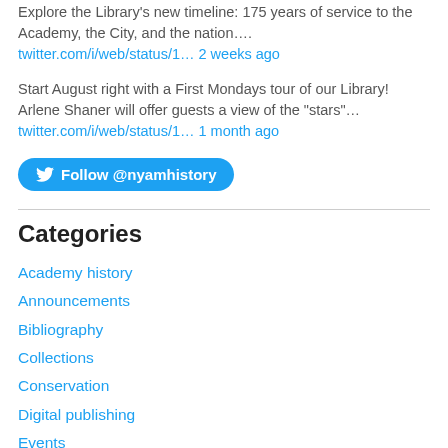Explore the Library's new timeline: 175 years of service to the Academy, the City, and the nation…. twitter.com/i/web/status/1… 2 weeks ago
Start August right with a First Mondays tour of our Library! Arlene Shaner will offer guests a view of the "stars"… twitter.com/i/web/status/1… 1 month ago
Follow @nyamhistory
Categories
Academy history
Announcements
Bibliography
Collections
Conservation
Digital publishing
Events
guest post
History of medicine